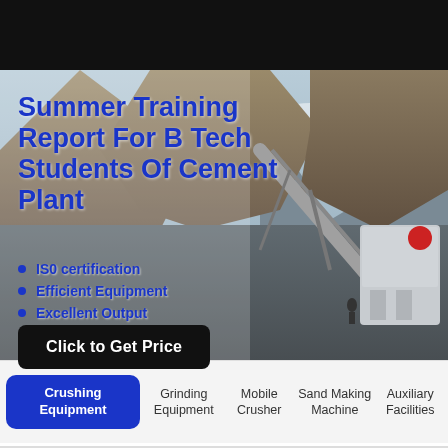[Figure (logo): GBM Machine logo with italic bold text and underline on blue background in header]
[Figure (photo): Cement plant / mining quarry scene with mountains in background and industrial crushing equipment visible. Hero banner image.]
Summer Training Report For B Tech Students Of Cement Plant
IS0 certification
Efficient Equipment
Excellent Output
Click to Get Price
Crushing Equipment
Grinding Equipment
Mobile Crusher
Sand Making Machine
Auxiliary Facilities